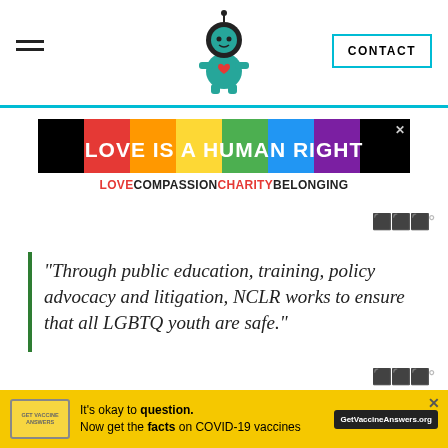Navigation header with hamburger menu, ninja logo, and CONTACT button
[Figure (infographic): Rainbow pride banner with text LOVE IS A HUMAN RIGHT on colorful rainbow background, below tagline: LOVE COMPASSION CHARITY BELONGING]
“Through public education, training, policy advocacy and litigation, NCLR works to ensure that all LGBTQ youth are safe.”
[Figure (infographic): Yellow COVID-19 vaccine advertisement banner: It's okay to question. Now get the facts on COVID-19 vaccines. GetVaccineAnswers.org]